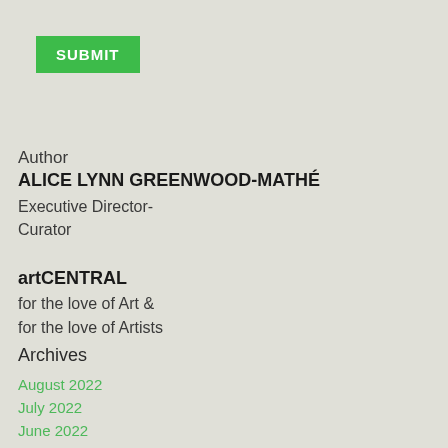[Figure (other): Green SUBMIT button in top-left corner]
Author
ALICE LYNN GREENWOOD-MATHÉ
Executive Director-
Curator
artCENTRAL
for the love of Art &
for the love of Artists
Archives
August 2022
July 2022
June 2022
May 2022